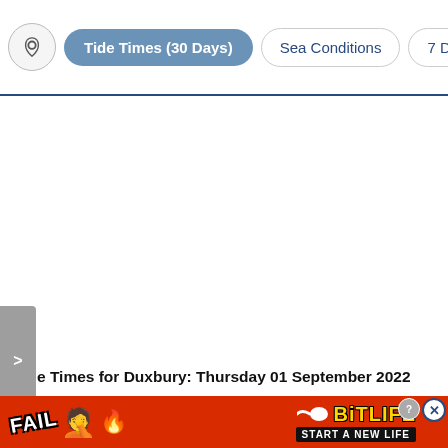Tide Times (30 Days) | Sea Conditions | 7 Day Tide Tab
Tide Times for Duxbury: Thursday 01 September 2022
[Figure (screenshot): BitLife advertisement banner with 'FAIL' text, cartoon emoji, fire graphics, sperm icon, BitLife logo in yellow, and 'START A NEW LIFE' tagline on red background with close buttons]